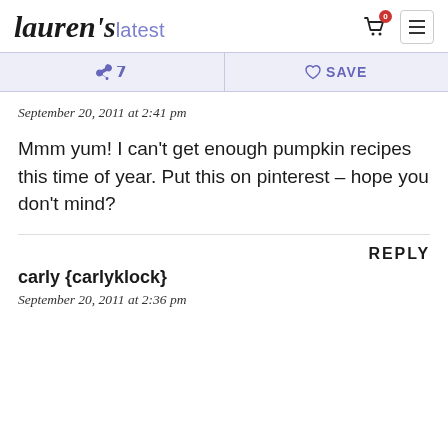lauren's latest
September 20, 2011 at 2:41 pm
Mmm yum! I can't get enough pumpkin recipes this time of year. Put this on pinterest – hope you don't mind?
REPLY
carly {carlyklock}
September 20, 2011 at 2:36 pm